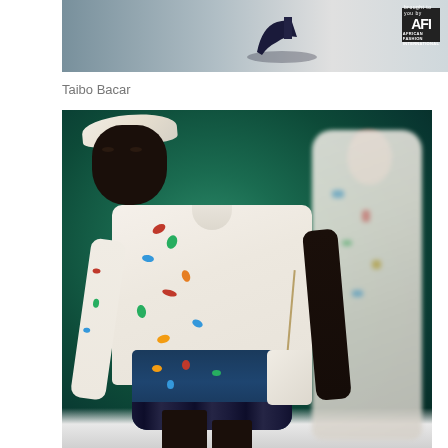[Figure (photo): Partial view of a fashion runway show photo at top of page, showing shoes and AFT (African Fashion International) logo on dark background]
Taibo Bacar
[Figure (photo): Fashion runway photo of a Black model wearing a floral-printed long-sleeve white shirt, embroidered dark denim mini skirt with blue feather trim, a headband, and a small crossbody bag. A second model in a similar floral outfit is visible in the background. The runway background features green foliage.]